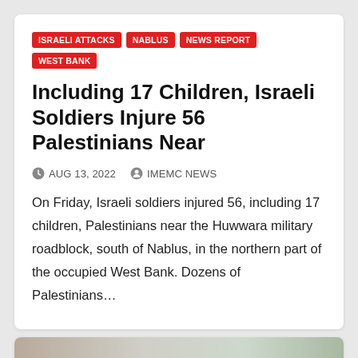ISRAELI ATTACKS
NABLUS
NEWS REPORT
WEST BANK
Including 17 Children, Israeli Soldiers Injure 56 Palestinians Near
AUG 13, 2022   IMEMC NEWS
On Friday, Israeli soldiers injured 56, including 17 children, Palestinians near the Huwwara military roadblock, south of Nablus, in the northern part of the occupied West Bank. Dozens of Palestinians…
[Figure (photo): Outdoor photograph showing utility poles, wires, and trees against a cloudy sky, partially visible at the bottom of the page]